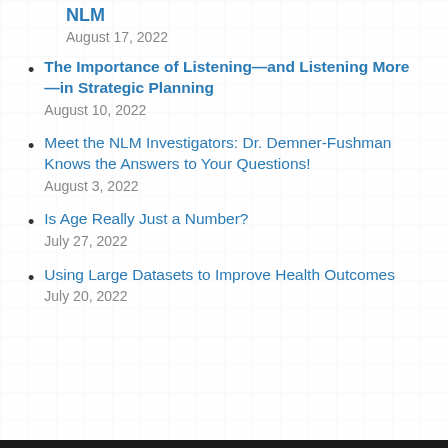NLM
August 17, 2022
The Importance of Listening—and Listening More—in Strategic Planning
August 10, 2022
Meet the NLM Investigators: Dr. Demner-Fushman Knows the Answers to Your Questions!
August 3, 2022
Is Age Really Just a Number?
July 27, 2022
Using Large Datasets to Improve Health Outcomes
July 20, 2022